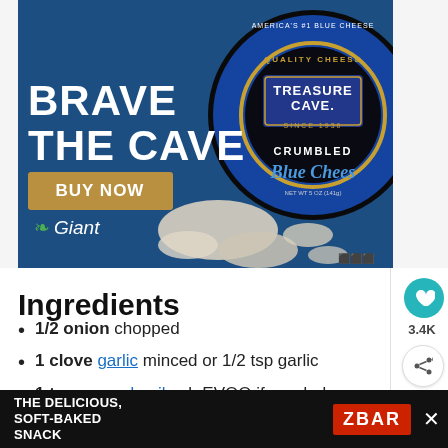[Figure (photo): Treasure Cave Crumbled Blue Cheese advertisement banner with dark blue background. Text reads BRAVE THE CAVE with BUY NOW button and Giant logo. Product container visible on right side.]
Ingredients
1/2 onion chopped
1 clove garlic minced or 1/2 tsp garlic
1 tsp avocado oil sub EVOO if needed
4 cups fresh spinach
[Figure (photo): Bottom advertisement banner for THE DELICIOUS, SOFT-BAKED SNACK with ZBAR product logo and image]